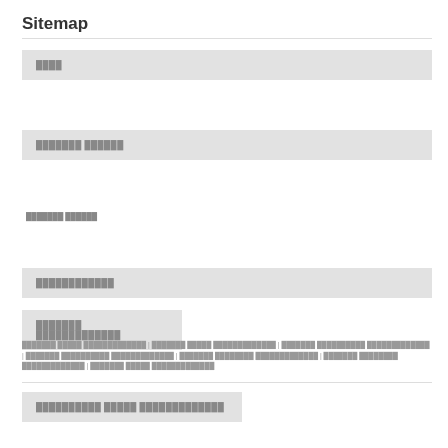Sitemap
████
███████ ██████
███████ ██████
████████████
███████ █████████████
███████ █████ █████████████ | ███████ █████ █████████████ | ███████ ██████████ █████████████ | ███████ ██████████ █████████████ | ███████ ████████ █████████████ | ███████ ████████ █████████████ | ███████ █████ █████████████
██████████ █████ █████████████